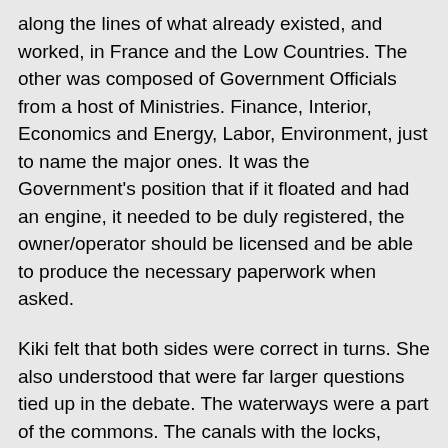along the lines of what already existed, and worked, in France and the Low Countries. The other was composed of Government Officials from a host of Ministries. Finance, Interior, Economics and Energy, Labor, Environment, just to name the major ones. It was the Government's position that if it floated and had an engine, it needed to be duly registered, the owner/operator should be licensed and be able to produce the necessary paperwork when asked.
Kiki felt that both sides were correct in turns. She also understood that were far larger questions tied up in the debate. The waterways were a part of the commons. The canals with the locks, dams, and aqueducts that linked together the naturally formed were all maintained at taxpayer expense. So, who had the right to use them? Looking out across the waters of the Spree, Kiki could see a pair of tugboats pushing and towing a number of unpowered barges hauling mounds of something covered in tarps up the river. A Péniche that looked like it was running entirely on ballast was going in the opposite direction. Both were examples